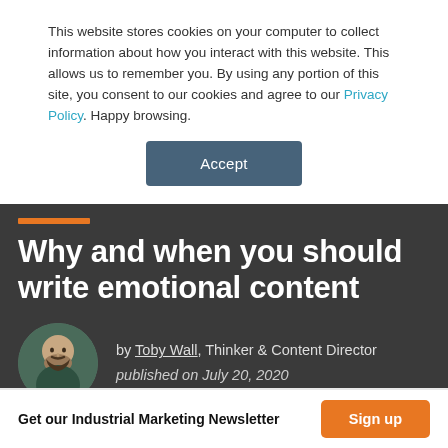This website stores cookies on your computer to collect information about how you interact with this website. This allows us to remember you. By using any portion of this site, you consent to our cookies and agree to our Privacy Policy. Happy browsing.
Accept
Why and when you should write emotional content
by Toby Wall, Thinker & Content Director
published on July 20, 2020
Get our Industrial Marketing Newsletter   Sign up